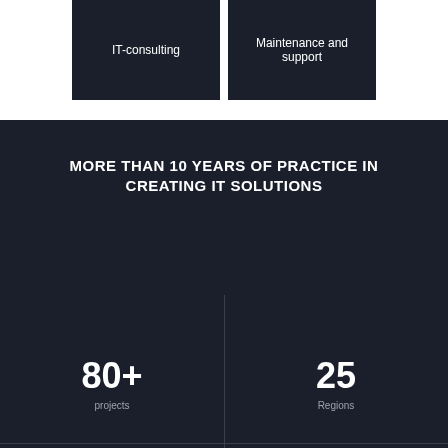[Figure (infographic): Two dark cards side by side: 'IT-consulting' and 'Maintenance and support']
MORE THAN 10 YEARS OF PRACTICE IN CREATING IT SOLUTIONS
80+
projects
25
Regions
30
Customers
1200+
Medical organizations